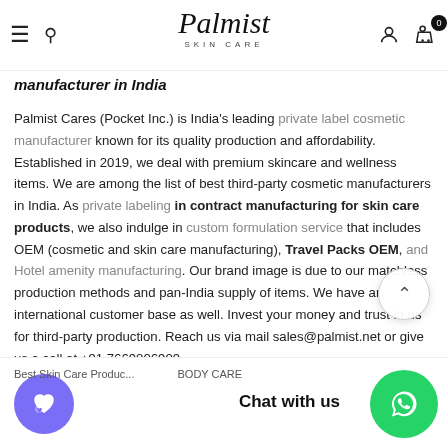Palmist Skin Care — navigation header with hamburger, search, logo, user icon, cart (0)
manufacturer in India
Palmist Cares (Pocket Inc.) is India's leading private label cosmetic manufacturer known for its quality production and affordability. Established in 2019, we deal with premium skincare and wellness items. We are among the list of best third-party cosmetic manufacturers in India. As private labeling in contract manufacturing for skin care products, we also indulge in custom formulation service that includes OEM (cosmetic and skin care manufacturing), Travel Packs OEM, and Hotel amenity manufacturing. Our brand image is due to our matchless production methods and pan-India supply of items. We have an international customer base as well. Invest your money and trust in us for third-party production. Reach us via mail sales@palmist.net or give us a call at +91 7669006909
Best Skin Care Products   BODY CARE   Chat with us